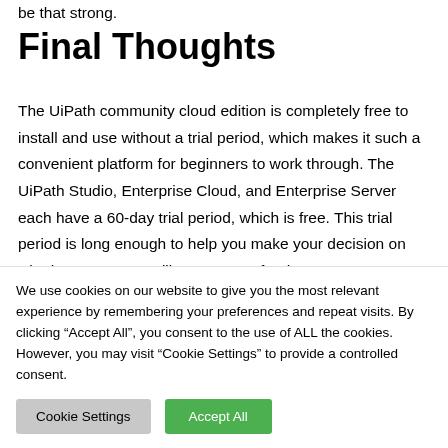be that strong.
Final Thoughts
The UiPath community cloud edition is completely free to install and use without a trial period, which makes it such a convenient platform for beginners to work through. The UiPath Studio, Enterprise Cloud, and Enterprise Server each have a 60-day trial period, which is free. This trial period is long enough to help you make your decision on whether or not you will want to pay for the
We use cookies on our website to give you the most relevant experience by remembering your preferences and repeat visits. By clicking “Accept All”, you consent to the use of ALL the cookies. However, you may visit "Cookie Settings" to provide a controlled consent.
Cookie Settings
Accept All